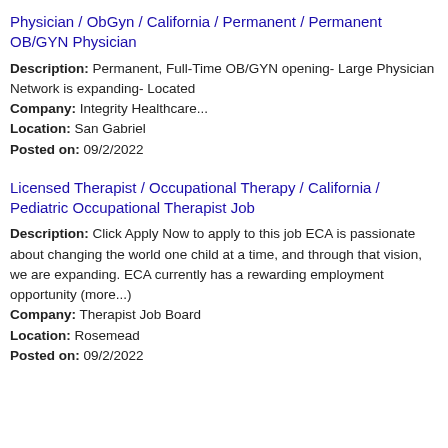Physician / ObGyn / California / Permanent / Permanent OB/GYN Physician
Description: Permanent, Full-Time OB/GYN opening- Large Physician Network is expanding- Located Company: Integrity Healthcare... Location: San Gabriel Posted on: 09/2/2022
Licensed Therapist / Occupational Therapy / California / Pediatric Occupational Therapist Job
Description: Click Apply Now to apply to this job ECA is passionate about changing the world one child at a time, and through that vision, we are expanding. ECA currently has a rewarding employment opportunity (more...) Company: Therapist Job Board Location: Rosemead Posted on: 09/2/2022